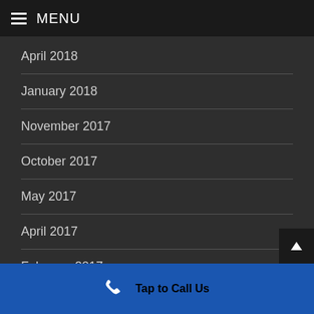MENU
April 2018
January 2018
November 2017
October 2017
May 2017
April 2017
February 2017
December 2016
Tap to Call Us